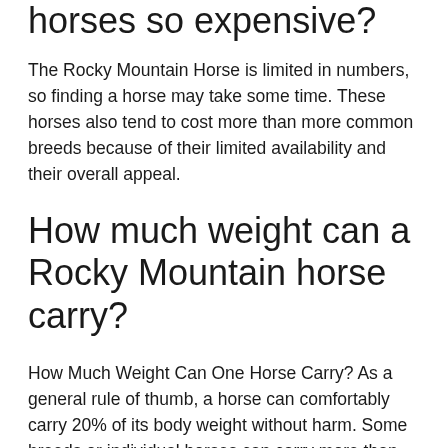horses so expensive?
The Rocky Mountain Horse is limited in numbers, so finding a horse may take some time. These horses also tend to cost more than more common breeds because of their limited availability and their overall appeal.
How much weight can a Rocky Mountain horse carry?
How Much Weight Can One Horse Carry? As a general rule of thumb, a horse can comfortably carry 20% of its body weight without harm. Some breeds or individual horses can carry more than that, some less,